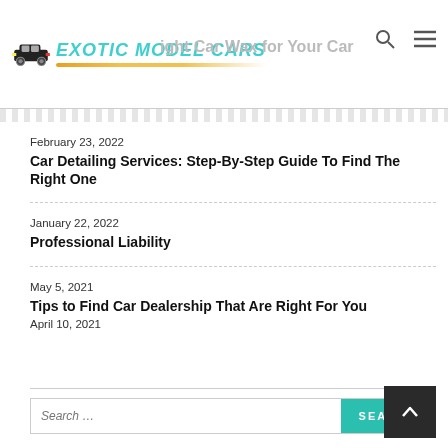EXOTIC MODEL CARS — [right Car Wax for Your Car] (partial header title visible)
February 23, 2022
Car Detailing Services: Step-By-Step Guide To Find The Right One
January 22, 2022
Professional Liability
May 5, 2021
Tips to Find Car Dealership That Are Right For You
April 10, 2021